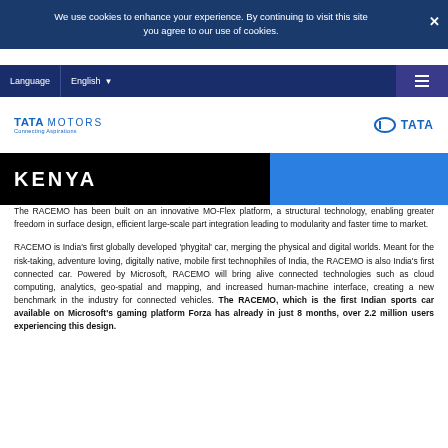We use cookies to enhance your experience. By continuing to visit this site you agree to our use of cookies.
Language  English  ☰
[Figure (logo): Tata Motors Connecting Aspirations logo on the left and Tata logo on the right]
KENYA
The RACEMO has been built on an innovative MO-Flex platform, a structural technology, enabling greater freedom in surface design, efficient large-scale part integration leading to modularity and faster time to market.
RACEMO is India’s first globally developed ‘phygital’ car, merging the physical and digital worlds. Meant for the risk-taking, adventure loving, digitally native, mobile first technophiles of India, the RACEMO is also India’s first connected car. Powered by Microsoft, RACEMO will bring alive connected technologies such as cloud computing, analytics, geo-spatial and mapping, and increased human-machine interface, creating a new benchmark in the industry for connected vehicles. The RACEMO, which is the first Indian sports car available on Microsoft’s gaming platform Forza has already in just 8 months, over 2.2 million users experiencing this design.